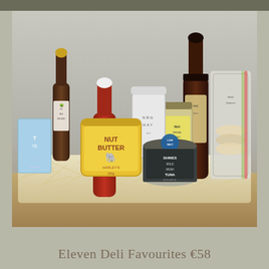[Figure (photo): A gift hamper basket filled with straw, containing various deli food products: nut butter jar (Harley's), wild Irish tuna tin (Shines), jam/chutney jar (NRG HAY), tomato sauce bottle, balsamic vinegar bottle, McHugh's original crispy chutney, crackers/flatbreads in packaging, chocolate bar, and other items.]
Eleven Deli Favourites €58